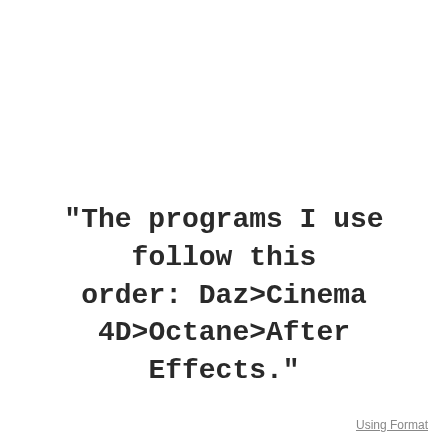"The programs I use follow this order: Daz>Cinema 4D>Octane>After Effects."
Using Format